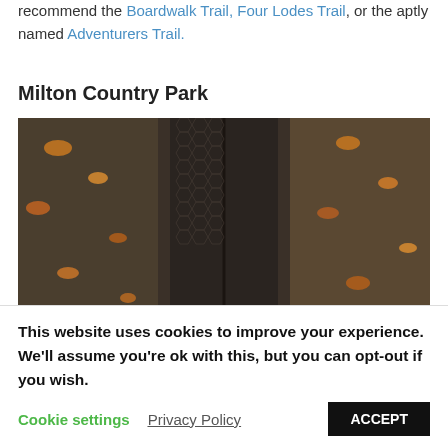recommend the Boardwalk Trail, Four Lodes Trail, or the aptly named Adventurers Trail.
Milton Country Park
[Figure (photo): Overhead view of hiking boots standing on a metal-mesh boardwalk trail surrounded by fallen autumn leaves and muddy ground.]
Located north of the city centre, Milton
This website uses cookies to improve your experience. We'll assume you're ok with this, but you can opt-out if you wish.
Cookie settings  Privacy Policy  ACCEPT